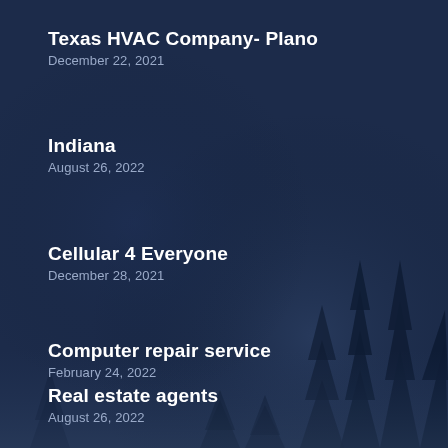Texas HVAC Company- Plano
December 22, 2021
Indiana
August 26, 2022
Cellular 4 Everyone
December 28, 2021
Computer repair service
February 24, 2022
Real estate agents
August 26, 2022